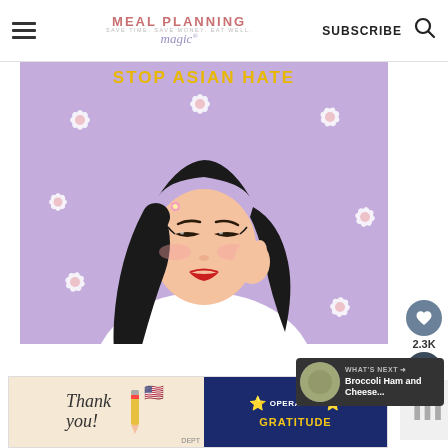MEAL PLANNING magic® SUBSCRIBE
[Figure (illustration): Illustration of an Asian woman in a white turtleneck with cherry blossoms in her hair against a purple background with white flowers. Text at top reads STOP ASIAN HATE in gold letters.]
[Figure (infographic): Social sharing panel with heart icon, 2.3K count, and share icon]
[Figure (infographic): What's Next panel showing Broccoli Ham and Cheese... next article preview]
[Figure (infographic): Advertisement banner: Thank you with Operation Gratitude logo]